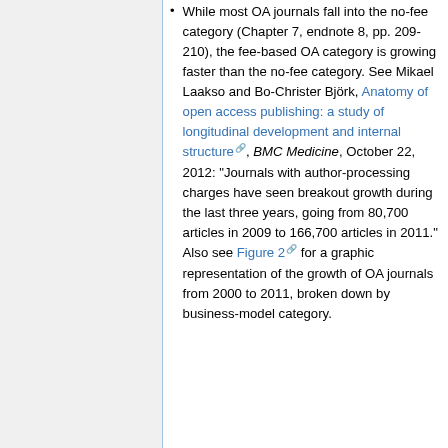While most OA journals fall into the no-fee category (Chapter 7, endnote 8, pp. 209-210), the fee-based OA category is growing faster than the no-fee category. See Mikael Laakso and Bo-Christer Björk, Anatomy of open access publishing: a study of longitudinal development and internal structure, BMC Medicine, October 22, 2012: "Journals with author-processing charges have seen breakout growth during the last three years, going from 80,700 articles in 2009 to 166,700 articles in 2011." Also see Figure 2 for a graphic representation of the growth of OA journals from 2000 to 2011, broken down by business-model category.